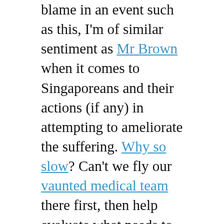blame in an event such as this, I'm of similar sentiment as Mr Brown when it comes to Singaporeans and their actions (if any) in attempting to ameliorate the suffering. Why so slow? Can't we fly our vaunted medical team there first, then help evaluate what needs to be done? Surely there'll be things to do as soon as you hit the ground, no? Maid agencies here can send sacked domestic helpers back to Indonesia faster than you can blink an eye, man! Not good enough, dudes!
(Update: RSAF C-130 with supplies despatched to Medan)
Also, you know when the people in Colorado discovered the massive earthquake, and